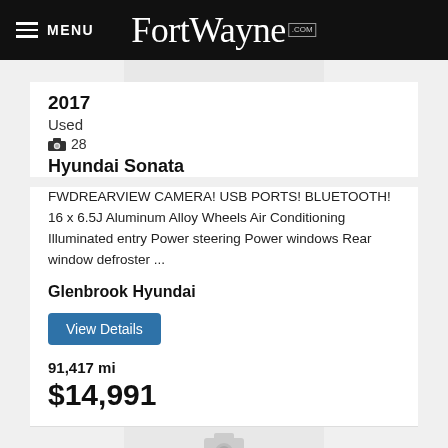MENU FortWayne.com
2017
Used
📷 28
Hyundai Sonata
FWDREARVIEW CAMERA! USB PORTS! BLUETOOTH! 16 x 6.5J Aluminum Alloy Wheels Air Conditioning Illuminated entry Power steering Power windows Rear window defroster ...
Glenbrook Hyundai
View Details
91,417 mi
$14,991